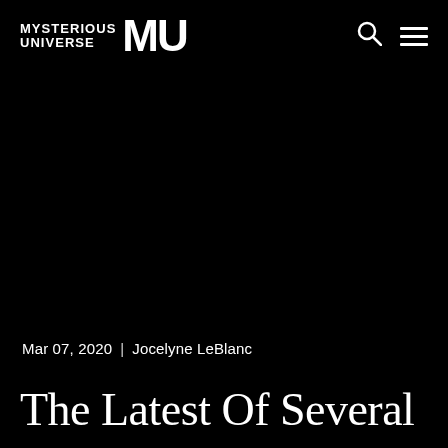MYSTERIOUS UNIVERSE MU
Mar 07, 2020  |  Jocelyne LeBlanc
The Latest Of Several